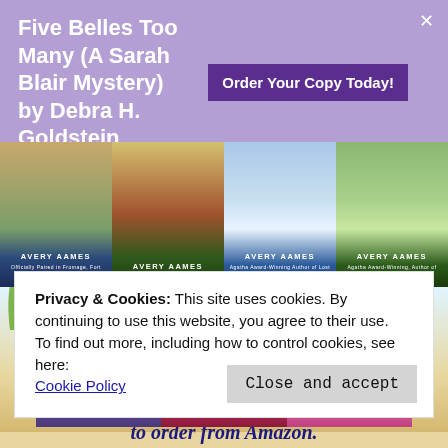Five Belles Too Many (A Sarah Blair Mystery) by Debra H. Goldstein
Order Your Copy Today!
[Figure (photo): Row of four book covers by Avery Aames: cozy mystery novels with food/picnic themes]
[Figure (photo): Row of three book covers: 'Days of Wine and Roquefort', 'As Gouda as Dead', 'For Cheddar or Worse' - Cheese Shop Mystery series]
Privacy & Cookies: This site uses cookies. By continuing to use this website, you agree to their use.
To find out more, including how to control cookies, see here:
Cookie Policy
Close and accept
to order from Amazon.